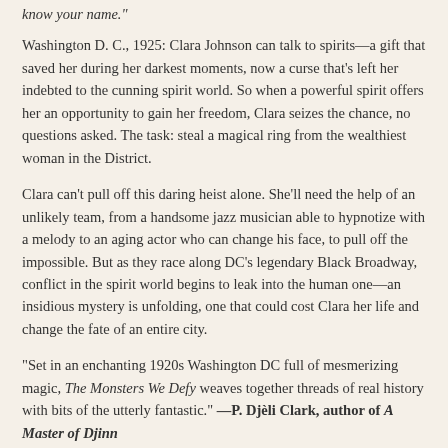know your name."
Washington D. C., 1925: Clara Johnson can talk to spirits—a gift that saved her during her darkest moments, now a curse that's left her indebted to the cunning spirit world. So when a powerful spirit offers her an opportunity to gain her freedom, Clara seizes the chance, no questions asked. The task: steal a magical ring from the wealthiest woman in the District.
Clara can't pull off this daring heist alone. She'll need the help of an unlikely team, from a handsome jazz musician able to hypnotize with a melody to an aging actor who can change his face, to pull off the impossible. But as they race along DC's legendary Black Broadway, conflict in the spirit world begins to leak into the human one—an insidious mystery is unfolding, one that could cost Clara her life and change the fate of an entire city.
"Set in an enchanting 1920s Washington DC full of mesmerizing magic, The Monsters We Defy weaves together threads of real history with bits of the utterly fantastic." —P. Djèli Clark, author of A Master of Djinn